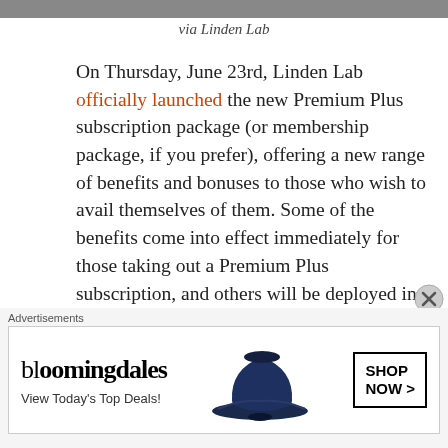[Figure (photo): Partial photo strip at top of page]
via Linden Lab
On Thursday, June 23rd, Linden Lab officially launched the new Premium Plus subscription package (or membership package, if you prefer), offering a new range of benefits and bonuses to those who wish to avail themselves of them. Some of the benefits come into effect immediately for those taking out a Premium Plus subscription, and others will be deployed in the near future, with further benefits also being added over time.
Alongside the announcement (but not linked to it at the time of writing this) this Lab released a FAQ page on Premium Plus
[Figure (other): Bloomingdales advertisement banner: View Today's Top Deals! SHOP NOW >]